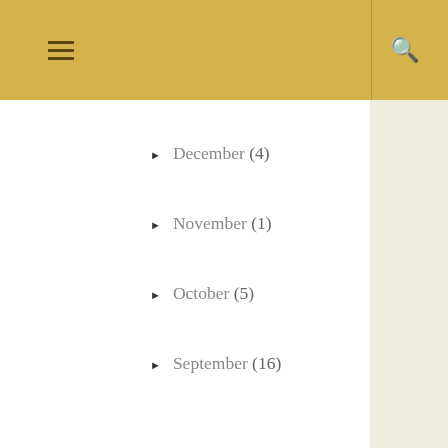≡ [hamburger menu] | 🔍 [search icon]
► December (4)
► November (1)
► October (5)
► September (16)
► August (23)
► July (19)
► June (9)
► May (3)
► April (4)
► March (12)
► February (15)
▼ January (10)
The Potters Purpose